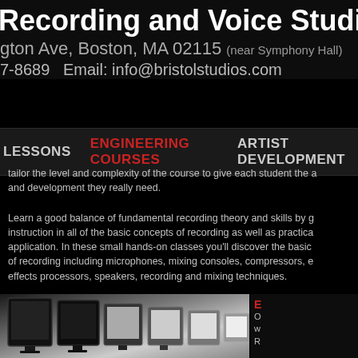Recording and Voice Studios
gton Ave, Boston, MA 02115 (near Symphony Hall)
7-8689   Email: info@bristolstudios.com
LESSONS   ENGINEERING COURSES   ARTIST DEVELOPMENT
tailor the level and complexity of the course to give each student the attention and development they really need.
Learn a good balance of fundamental recording theory and skills by getting instruction in all of the basic concepts of recording as well as practical application. In these small hands-on classes you'll discover the basic tools of recording including microphones, mixing consoles, compressors, effects processors, speakers, recording and mixing techniques.
[Figure (photo): Black and white photo of computer monitors/screens in a studio setting]
E
O w R